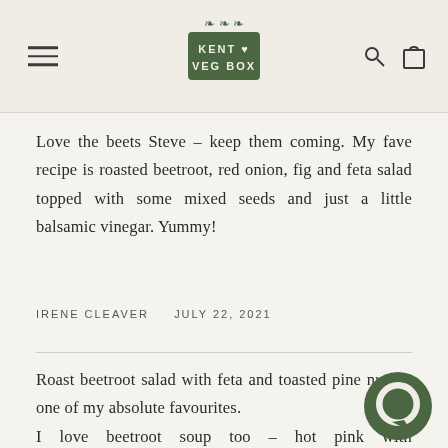Kent Veg Box
Love the beets Steve – keep them coming. My fave recipe is roasted beetroot, red onion, fig and feta salad topped with some mixed seeds and just a little balsamic vinegar. Yummy!
IRENE CLEAVER   JULY 22, 2021
Roast beetroot salad with feta and toasted pine nuts is one of my absolute favourites. I love beetroot soup too – hot pink with a greek yogurt – yummy AND pretty :P